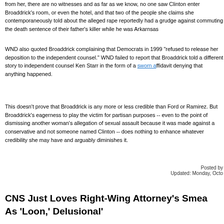from her, there are no witnesses and as far as we know, no one saw Clinton enter Broaddrick's room, or even the hotel, and that two of the people she claims she contemporaneously told about the alleged rape reportedly had a grudge against Clinton for commuting the death sentence of their father's killer while he was Arkansas governor.
WND also quoted Broaddrick complaining that Democrats in 1999 "refused to release her deposition to the independent counsel." WND failed to report that Broaddrick told a different story to independent counsel Ken Starr in the form of a sworn affidavit denying that anything happened.
This doesn't prove that Broaddrick is any more or less credible than Ford or Ramirez. But Broaddrick's eagerness to play the victim for partisan purposes -- even to the point of dismissing another woman's allegation of sexual assault because it was made against a conservative and not someone named Clinton -- does nothing to enhance whatever credibility she may have and arguably diminishes it.
Posted by
Updated: Monday, Octo
CNS Just Loves Right-Wing Attorney's Smea As 'Loon,' Delusional'